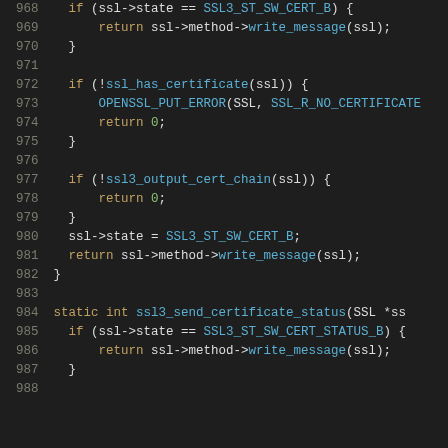[Figure (screenshot): Source code listing showing C code lines 968-988 with line numbers on the left in gray, keywords in yellow/olive, function names and identifiers in cyan/blue, and numbers in green, on a dark background.]